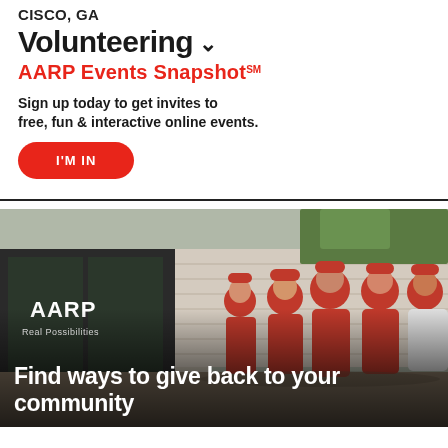CISCO, GA
Volunteering ˅
AARP Events Snapshot℠
Sign up today to get invites to free, fun & interactive online events.
I'M IN
[Figure (photo): Group of AARP volunteers wearing red AARP shirts and red caps walking together outside an AARP building with 'Real Possibilities' signage. Overlay text reads: Find ways to give back to your community]